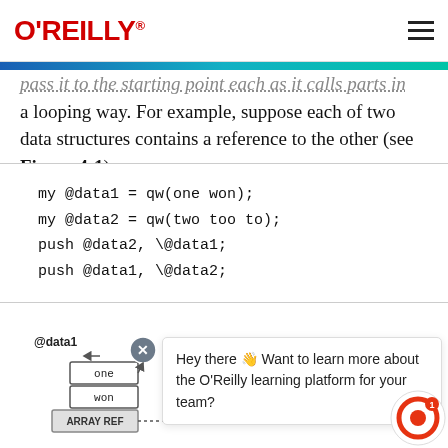O'REILLY
pass it to the starting point each as it calls parts in a looping way. For example, suppose each of two data structures contains a reference to the other (see Figure 4-1):
my @data1 = qw(one won);
my @data2 = qw(two too to);
push @data2, \@data1;
push @data1, \@data2;
[Figure (illustration): Diagram showing @data1 array with elements 'one', 'won', 'ARRAY REF' referencing @data2]
Hey there 👋 Want to learn more about the O'Reilly learning platform for your team?